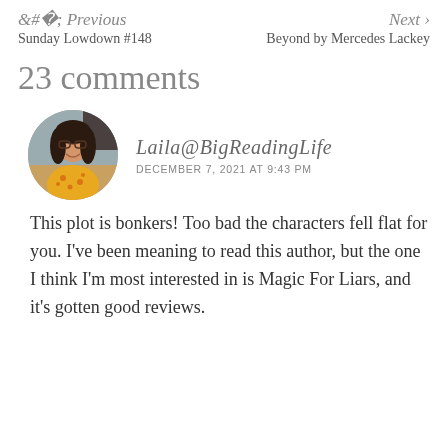< Previous
Sunday Lowdown #148
Next >
Beyond by Mercedes Lackey
23 comments
[Figure (photo): Circular avatar photo of a woman with dark hair and glasses, wearing a yellow floral top, smiling]
Laila@BigReadingLife
DECEMBER 7, 2021 AT 9:43 PM
This plot is bonkers! Too bad the characters fell flat for you. I've been meaning to read this author, but the one I think I'm most interested in is Magic For Liars, and it's gotten good reviews.